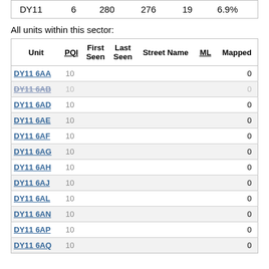|  |  |  |  |  |  |
| --- | --- | --- | --- | --- | --- |
| DY11 | 6 | 280 | 276 | 19 | 6.9% |
All units within this sector:
| Unit | PQI | First Seen | Last Seen | Street Name | ML | Mapped |
| --- | --- | --- | --- | --- | --- | --- |
| DY11 6AA | 10 |  |  |  |  | 0 |
| DY11 6AB | 10 |  |  |  |  | 0 |
| DY11 6AD | 10 |  |  |  |  | 0 |
| DY11 6AE | 10 |  |  |  |  | 0 |
| DY11 6AF | 10 |  |  |  |  | 0 |
| DY11 6AG | 10 |  |  |  |  | 0 |
| DY11 6AH | 10 |  |  |  |  | 0 |
| DY11 6AJ | 10 |  |  |  |  | 0 |
| DY11 6AL | 10 |  |  |  |  | 0 |
| DY11 6AN | 10 |  |  |  |  | 0 |
| DY11 6AP | 10 |  |  |  |  | 0 |
| DY11 6AQ | 10 |  |  |  |  | 0 |